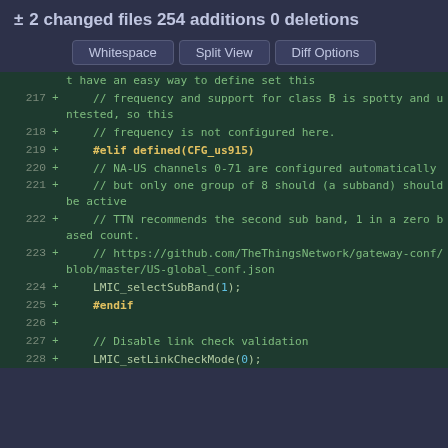± 2 changed files 254 additions 0 deletions
Whitespace | Split View | Diff Options
[Figure (screenshot): Git diff code view showing lines 217-228 of a source file with additions marked with +. Contains C/C++ preprocessor code for LoRaWAN frequency configuration including #elif defined(CFG_us915), NA-US channel setup, LMIC_selectSubBand(1), #endif, and LMIC_setLinkCheckMode(0).]